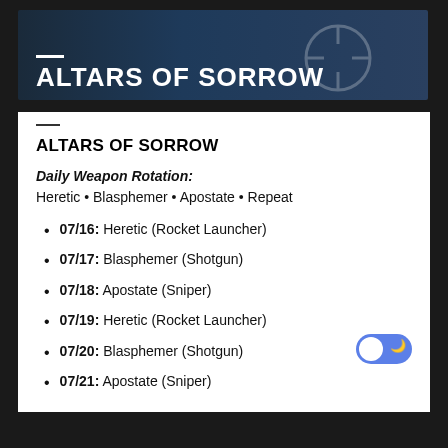[Figure (illustration): Dark blue banner header with a circular crosshair icon and text 'ALTARS OF SORROW' in white bold uppercase letters, with a white dash above.]
ALTARS OF SORROW
Daily Weapon Rotation: Heretic • Blasphemer • Apostate • Repeat
07/16: Heretic (Rocket Launcher)
07/17: Blasphemer (Shotgun)
07/18: Apostate (Sniper)
07/19: Heretic (Rocket Launcher)
07/20: Blasphemer (Shotgun)
07/21: Apostate (Sniper)